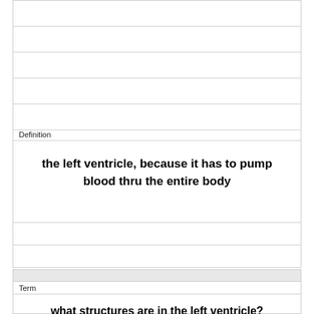Definition
the left ventricle, because it has to pump blood thru the entire body
Term
what structures are in the left ventricle?